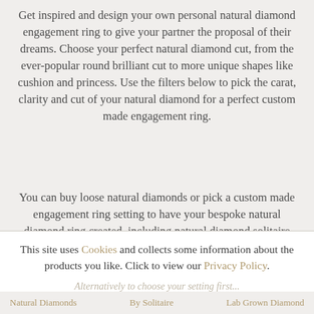Get inspired and design your own personal natural diamond engagement ring to give your partner the proposal of their dreams. Choose your perfect natural diamond cut, from the ever-popular round brilliant cut to more unique shapes like cushion and princess. Use the filters below to pick the carat, clarity and cut of your natural diamond for a perfect custom made engagement ring.
You can buy loose natural diamonds or pick a custom made engagement ring setting to have your bespoke natural diamond ring created, including natural diamond solitaire rings, three stone diamond rings, halo...
This site uses Cookies and collects some information about the products you like. Click to view our Privacy Policy.
ACCEPT
Alternatively to choose your setting first...
Natural Diamonds | Solitaire | Lab Grown Diamond